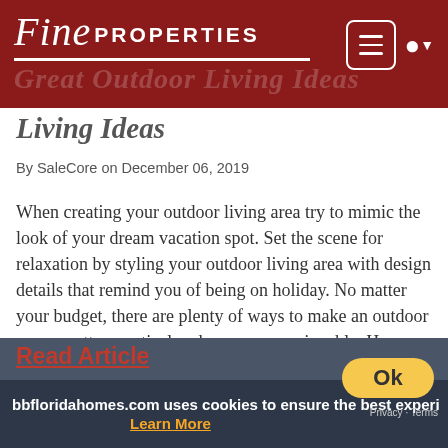Fine PROPERTIES
Great Outdoor Living Ideas
By SaleCore on December 06, 2019
When creating your outdoor living area try to mimic the look of your dream vacation spot. Set the scene for relaxation by styling your outdoor living area with design details that remind you of being on holiday. No matter your budget, there are plenty of ways to make an outdoor space pretty, practical and even more enjoyable. Here are some of our favorites.
Read Article
bbfloridahomes.com uses cookies to ensure the best experi Learn More